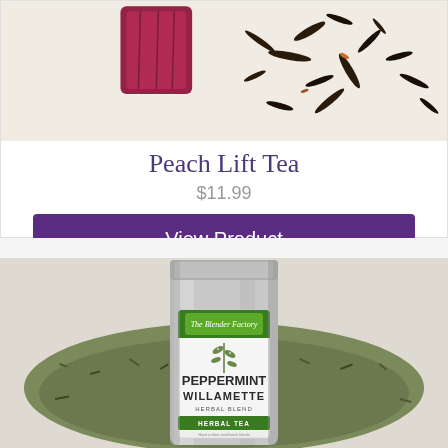[Figure (photo): Top portion of a product photo showing loose black tea leaves scattered on a light surface with a red/maroon fabric bag partially visible.]
Peach Lift Tea
$11.99
View Product
[Figure (photo): Photo of a silver foil bag of 'Peppermint Willamette Herbal Tea' product with a green logo label, surrounded by loose dried peppermint herb leaves on a white/marble surface.]